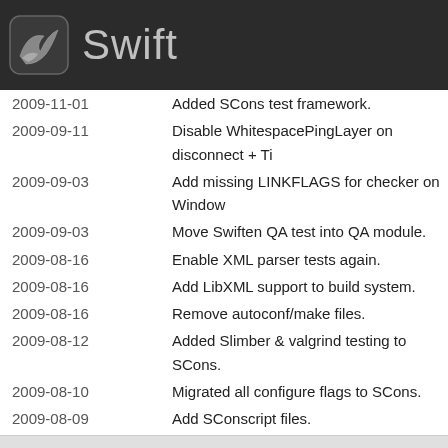Swift
2009-11-01   Added SCons test framework.
2009-09-11   Disable WhitespacePingLayer on disconnect + Ti
2009-09-03   Add missing LINKFLAGS for checker on Window
2009-09-03   Move Swiften QA test into QA module.
2009-08-16   Enable XML parser tests again.
2009-08-16   Add LibXML support to build system.
2009-08-16   Remove autoconf/make files.
2009-08-12   Added Slimber & valgrind testing to SCons.
2009-08-10   Migrated all configure flags to SCons.
2009-08-09   Add SConscript files.
2009-07-30   Remove unnecessary test constructor.
2009-07-24   Update the build system.
2009-07-17   Extended CppUnit checker to have test selection
2009-06-22   Let each module define its own .dep files.
2009-06-10   Moved Swiften/QA/UnitTest to QA/UnitTest.